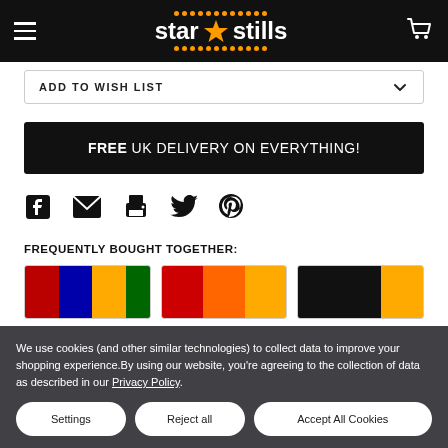Star Stills - hamburger menu, logo, cart icon
ADD TO WISH LIST
[Figure (infographic): FREE UK DELIVERY ON EVERYTHING! banner in white bold text on black background]
[Figure (infographic): Social sharing icons: Facebook, Email, Print, Twitter, Pinterest]
FREQUENTLY BOUGHT TOGETHER:
[Figure (photo): Three product thumbnail images shown side by side]
We use cookies (and other similar technologies) to collect data to improve your shopping experience.By using our website, you're agreeing to the collection of data as described in our Privacy Policy.
Settings | Reject all | Accept All Cookies